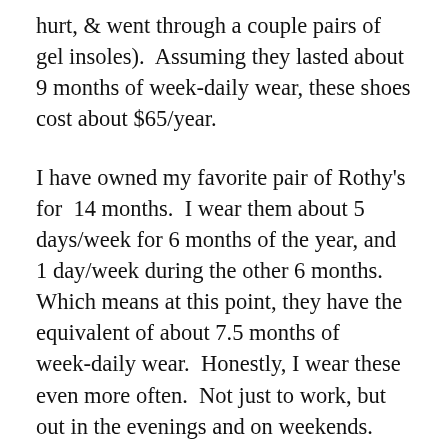hurt, & went through a couple pairs of gel insoles).  Assuming they lasted about 9 months of week-daily wear, these shoes cost about $65/year.
I have owned my favorite pair of Rothy's for  14 months.  I wear them about 5 days/week for 6 months of the year, and 1 day/week during the other 6 months.  Which means at this point, they have the equivalent of about 7.5 months of week-daily wear.  Honestly, I wear these even more often.  Not just to work, but out in the evenings and on weekends.  And the shoes are showing almost no wear!  From the outside, they look almost exactly like the day I bought them.  The bottom of the shoes do show very